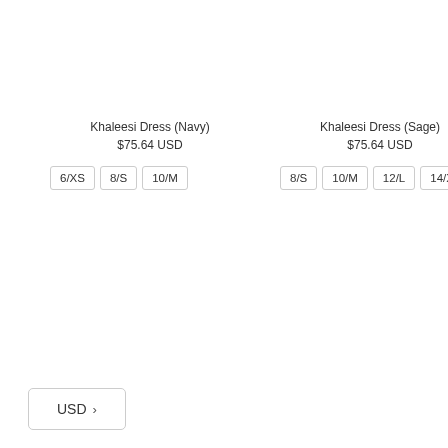Khaleesi Dress (Navy)
$75.64 USD
6/XS
8/S
10/M
Khaleesi Dress (Sage)
$75.64 USD
8/S
10/M
12/L
14/XL
USD >